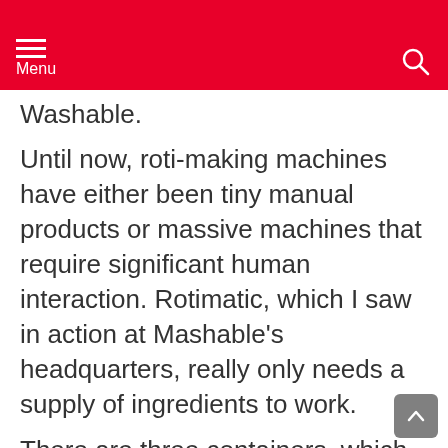Menu
Washable.
Until now, roti-making machines have either been tiny manual products or massive machines that require significant human interaction. Rotimatic, which I saw in action at Mashable's headquarters, really only needs a supply of ingredients to work.
There are three containers, which seal much like Tupperware: one for the dry-based ingredient (typically flour), another for water and the smallest for oil. The dry container can hold different kinds of dry baking ingredients, but nothing wet (no pancake mix!). The smallest container can hold virtually any kind of oil you choose, while the water container can